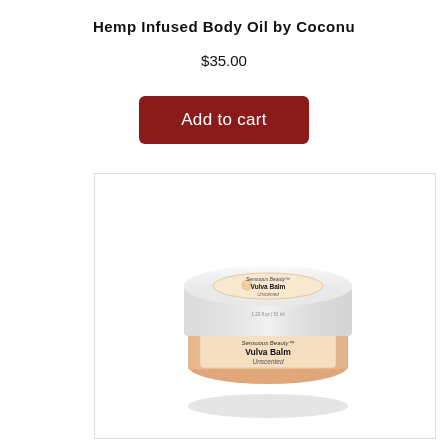Hemp Infused Body Oil by Coconu
$35.00
Add to cart
[Figure (photo): Product photo of a small white cosmetic jar labeled 'Sensuous Beauty Vulva Balm Unscented' with a peach/cream colored body and white lid, showing both the top and front label.]